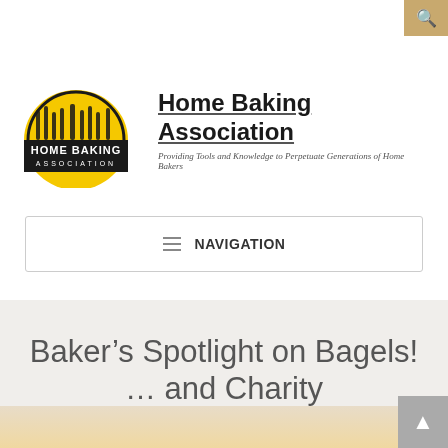[Figure (logo): Home Baking Association logo: yellow semicircle with baking tools silhouette over black text HOME BAKING ASSOCIATION]
Home Baking Association
Providing Tools and Knowledge to Perpetuate Generations of Home Bakers
NAVIGATION
Baker’s Spotlight on Bagels! … and Charity